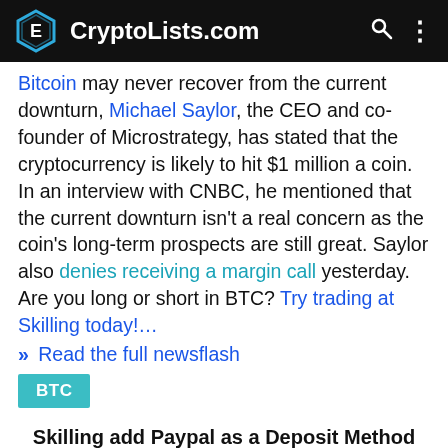CryptoLists.com
Bitcoin may never recover from the current downturn, Michael Saylor, the CEO and co-founder of Microstrategy, has stated that the cryptocurrency is likely to hit $1 million a coin. In an interview with CNBC, he mentioned that the current downturn isn’t a real concern as the coin’s long-term prospects are still great. Saylor also denies receiving a margin call yesterday. Are you long or short in BTC? Try trading at Skilling today!…
» Read the full newsflash
BTC
Skilling add Paypal as a Deposit Method
Sunday, 12 Jun 2022 7:47 am
Everything is red today, following the downturn on the stock market and increased